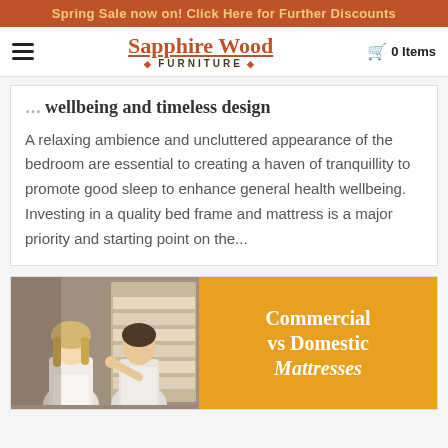Spring Sale now on! Click Here for Further Discounts
Sapphire Wood FURNITURE
wellbeing and timeless design
A relaxing ambience and uncluttered appearance of the bedroom are essential to creating a haven of tranquillity to promote good sleep to enhance general health wellbeing. Investing in a quality bed frame and mattress is a major priority and starting point on the...
Commercial vs Domestic Mattresses